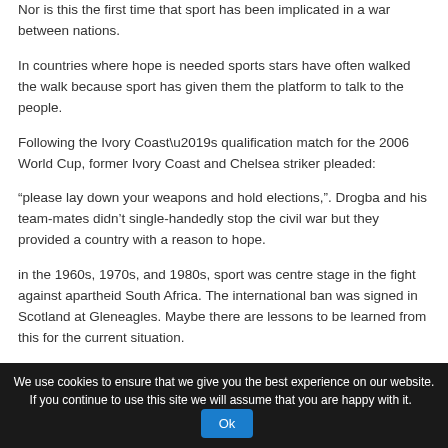Nor is this the first time that sport has been implicated in a war between nations.
In countries where hope is needed sports stars have often walked the walk because sport has given them the platform to talk to the people.
Following the Ivory Coast’s qualification match for the 2006 World Cup, former Ivory Coast and Chelsea striker pleaded:
“please lay down your weapons and hold elections,”. Drogba and his team-mates didn’t single-handedly stop the civil war but they provided a country with a reason to hope.
in the 1960s, 1970s, and 1980s, sport was centre stage in the fight against apartheid South Africa. The international ban was signed in Scotland at Gleneagles. Maybe there are lessons to be learned from this for the current situation.
We use cookies to ensure that we give you the best experience on our website. If you continue to use this site we will assume that you are happy with it.